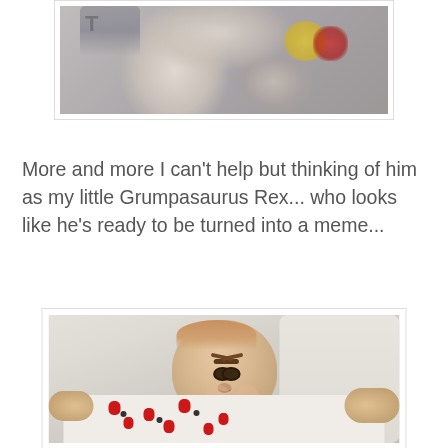[Figure (photo): Partial photo of a baby in colorful clothing, cropped — only the lower portion visible]
More and more I can't help but thinking of him as my little Grumpasaurus Rex... who looks like he's ready to be turned into a meme...
[Figure (photo): Photo of a newborn baby with a grumpy/frowning expression wearing a white onesie with red and black cartoon dog pattern, lying on white bedding]